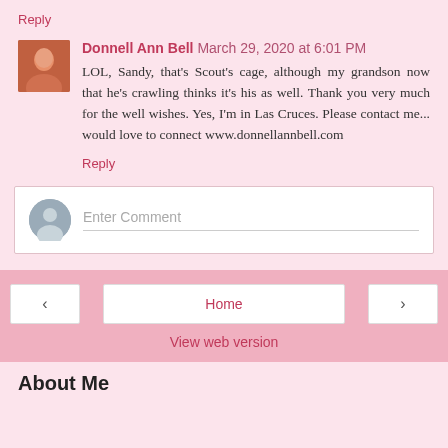Reply
Donnell Ann Bell  March 29, 2020 at 6:01 PM
LOL, Sandy, that's Scout's cage, although my grandson now that he's crawling thinks it's his as well. Thank you very much for the well wishes. Yes, I'm in Las Cruces. Please contact me... would love to connect www.donnellannbell.com
Reply
Enter Comment
Home
View web version
About Me